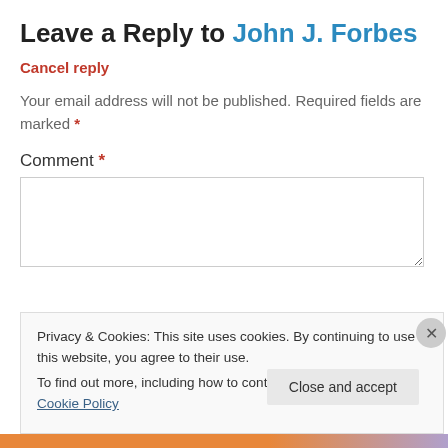Leave a Reply to John J. Forbes
Cancel reply
Your email address will not be published. Required fields are marked *
Comment *
Privacy & Cookies: This site uses cookies. By continuing to use this website, you agree to their use.
To find out more, including how to control cookies, see here: Cookie Policy